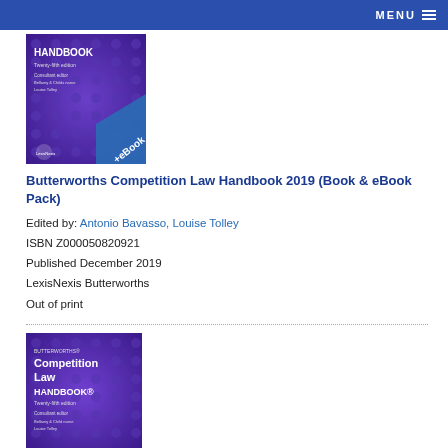MENU
[Figure (photo): Book cover: Butterworths Competition Law Handbook, Twenty-fifth edition, with +eBook banner, purple cover with dot pattern, LexisNexis logo]
Butterworths Competition Law Handbook 2019 (Book & eBook Pack)
Edited by: Antonio Bavasso, Louise Tolley
ISBN Z000050820921
Published December 2019
LexisNexis Butterworths
Out of print
[Figure (photo): Book cover: Butterworths Competition Law Handbook, Twenty-fifth edition, purple cover with dot pattern, no eBook banner]